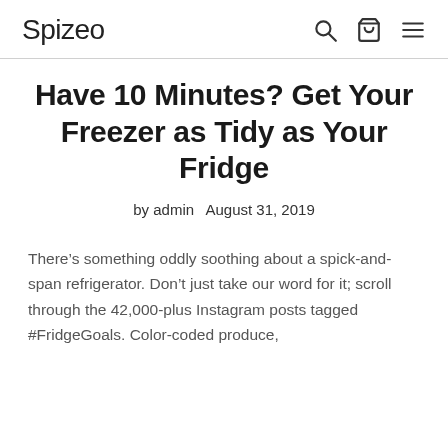Spizeo
Have 10 Minutes? Get Your Freezer as Tidy as Your Fridge
by admin   August 31, 2019
There’s something oddly soothing about a spick-and-span refrigerator. Don’t just take our word for it; scroll through the 42,000-plus Instagram posts tagged #FridgeGoals. Color-coded produce,